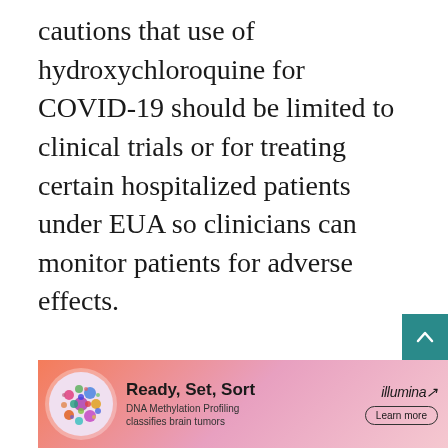cautions that use of hydroxychloroquine for COVID-19 should be limited to clinical trials or for treating certain hospitalized patients under EUA so clinicians can monitor patients for adverse effects.
“This study will provide key data to aid responses to the COVID-19 pandemic,” said ACTG chair Judith Currier, MD, of the University of California, Los Angeles. “We are pleased to be able to leverage ACTG’s existing infrastructure for HIV treatment clinical trials to quickly implement this impo[rtant…]
[Figure (infographic): Advertisement banner for Illumina: 'Ready, Set, Sort' — DNA Methylation Profiling classifies brain tumors, with colorful circular brain image and Learn more button]